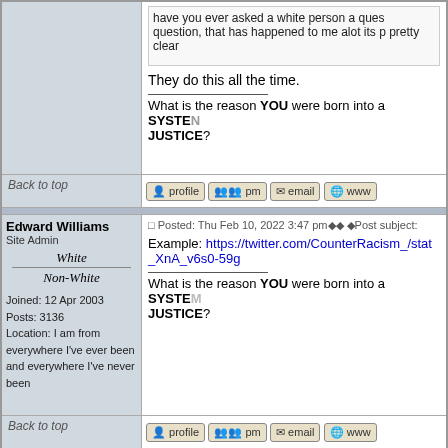have you ever asked a white person a ques question, that has happened to me alot its p pretty clear
They do this all the time.
What is the reason YOU were born into a SYSTEM JUSTICE?
Back to top
Edward Williams
Site Admin
White
Non-White
Joined: 12 Apr 2003
Posts: 3136
Location: I am from everywhere I've ever been and everywhere I've never been
Posted: Thu Feb 10, 2022 3:47 pm Post subject:
Example: https://twitter.com/CounterRacism_/stat _XnA_v6s0-59g
What is the reason YOU were born into a SYSTEM JUSTICE?
Back to top
Display posts from previous: All Posts Olde
Counter-Racism Work/Study Project Racism Q&A
Page 1 of 1
Jump to: Counter-Rac